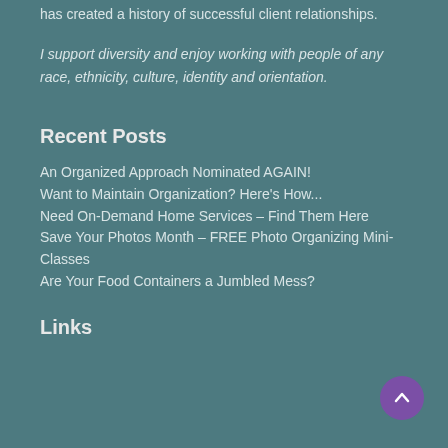has created a history of successful client relationships.
I support diversity and enjoy working with people of any race, ethnicity, culture, identity and orientation.
Recent Posts
An Organized Approach Nominated AGAIN!
Want to Maintain Organization? Here's How...
Need On-Demand Home Services – Find Them Here
Save Your Photos Month – FREE Photo Organizing Mini-Classes
Are Your Food Containers a Jumbled Mess?
Links